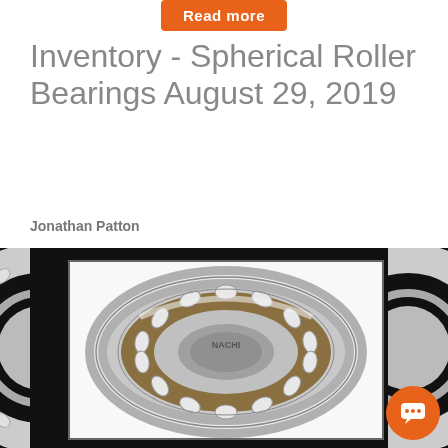Read more
Inventory - Spherical Roller Bearings August 29, 2019
Jonathan Patton
[Figure (photo): Close-up photograph of a NACHI spherical roller bearing on black background with white inner frame. The bearing is silver/metallic with gold-toned roller elements visible, showing the characteristic double-row barrel-shaped rollers in a cage. Partial bearings visible on far left and far right edges of the image.]